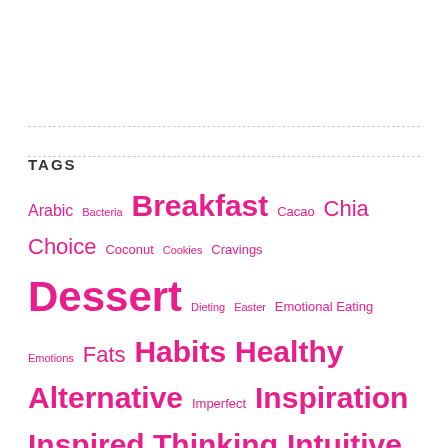TAGS
Arabic Bacteria Breakfast Cacao Chia Choice Coconut Cookies Cravings Dessert Dieting Easter Emotional Eating Emotions Fats Habits Healthy Alternative Imperfect Inspiration Inspired Thinking Intuitive eating Kitchen Mindfulness New Organization perfect Probiotic Quote Raw Raw Food recipe Recipes Salad Seasonal Smoothie Spring Sugar Superfoods Travel Umami Upgrade